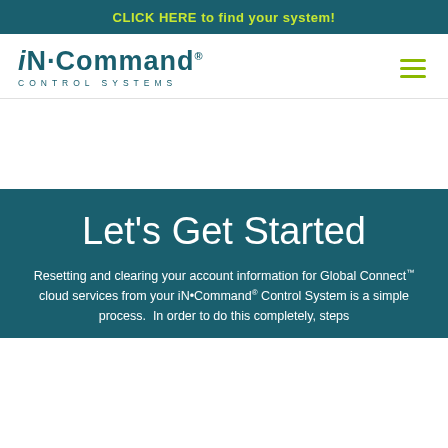CLICK HERE to find your system!
[Figure (logo): iN·Command Control Systems logo — company name in teal with a dot separator and 'CONTROL SYSTEMS' subtitle below]
Let's Get Started
Resetting and clearing your account information for Global Connect™ cloud services from your iN•Command® Control System is a simple process.  In order to do this completely, steps should be taken both through the mobile/web